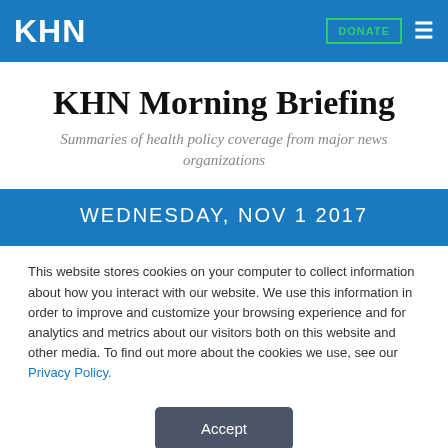KHN
KHN Morning Briefing
Summaries of health policy coverage from major news organizations
WEDNESDAY, NOV 1 2017
This website stores cookies on your computer to collect information about how you interact with our website. We use this information in order to improve and customize your browsing experience and for analytics and metrics about our visitors both on this website and other media. To find out more about the cookies we use, see our Privacy Policy.
Accept